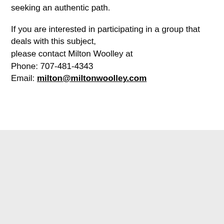seeking an authentic path.
If you are interested in participating in a group that deals with this subject, please contact Milton Woolley at
Phone: 707-481-4343
Email: milton@miltonwoolley.com